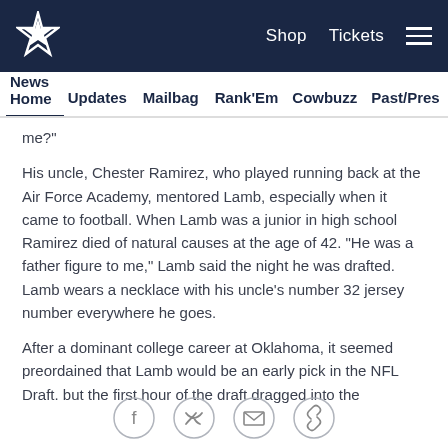Dallas Cowboys — Shop | Tickets | Navigation
News Home   Updates   Mailbag   Rank'Em   Cowbuzz   Past/Pres
me?"
His uncle, Chester Ramirez, who played running back at the Air Force Academy, mentored Lamb, especially when it came to football. When Lamb was a junior in high school Ramirez died of natural causes at the age of 42. "He was a father figure to me," Lamb said the night he was drafted. Lamb wears a necklace with his uncle's number 32 jersey number everywhere he goes.
After a dominant college career at Oklahoma, it seemed preordained that Lamb would be an early pick in the NFL Draft. but the first hour of the draft dragged into the